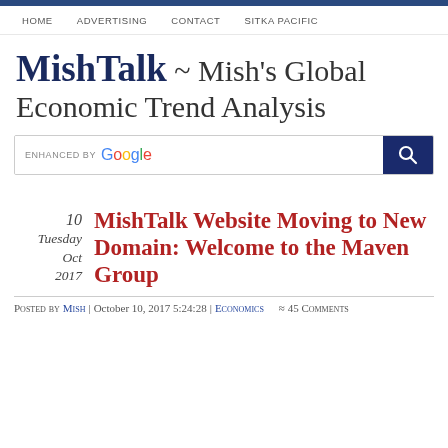HOME   ADVERTISING   CONTACT   SITKA PACIFIC
MishTalk ~ Mish's Global Economic Trend Analysis
[Figure (other): Google search bar with enhanced by Google label and search button]
10 Tuesday Oct 2017
MishTalk Website Moving to New Domain: Welcome to the Maven Group
Posted by Mish | October 10, 2017 5:24:28 | Economics   ≈ 45 Comments